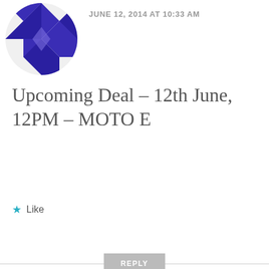[Figure (illustration): Purple geometric avatar icon, partially visible at top left]
JUNE 12, 2014 AT 10:33 AM
Upcoming Deal – 12th June, 12PM – MOTO E
★ Like
REPLY
[Figure (illustration): Red/pink geometric mandala-like avatar icon for user nirajk42]
nirajk42
JUNE 12, 2014 AT 10:42 AM
Advertisements
[Figure (screenshot): WooCommerce advertisement banner: 'Turn your hobby into a business in 8 steps' on dark purple background with geometric shapes]